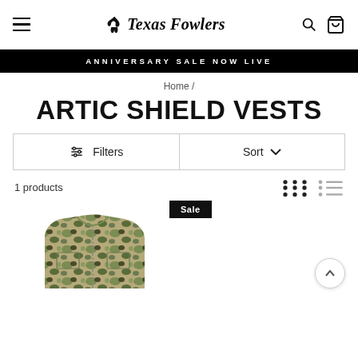Texas Fowlers — navigation header with hamburger menu, logo, search and cart icons
ANNIVERSARY SALE NOW LIVE
Home /
ARTIC SHIELD VESTS
Filters
Sort
1 products
Sale
[Figure (photo): Camo hunting vest product photo, partially visible at bottom of page]